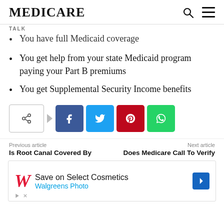MEDICARE
TALK
You have full Medicaid coverage
You get help from your state Medicaid program paying your Part B premiums
You get Supplemental Security Income benefits
[Figure (infographic): Social share bar with share toggle button, arrow, and four social media buttons: Facebook (blue), Twitter (cyan), Pinterest (red), WhatsApp (green)]
Previous article
Is Root Canal Covered By
Next article
Does Medicare Call To Verify
[Figure (infographic): Walgreens advertisement: Save on Select Cosmetics - Walgreens Photo with navigation icon]